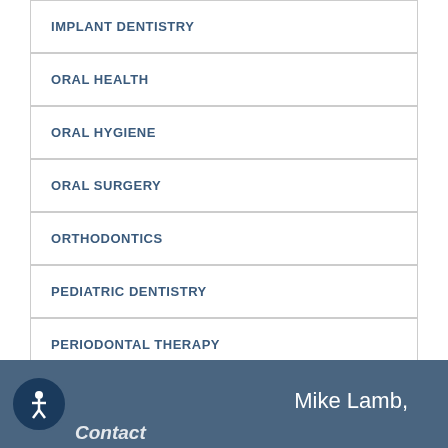IMPLANT DENTISTRY
ORAL HEALTH
ORAL HYGIENE
ORAL SURGERY
ORTHODONTICS
PEDIATRIC DENTISTRY
PERIODONTAL THERAPY
TECHNOLOGY
Mike Lamb, Contact